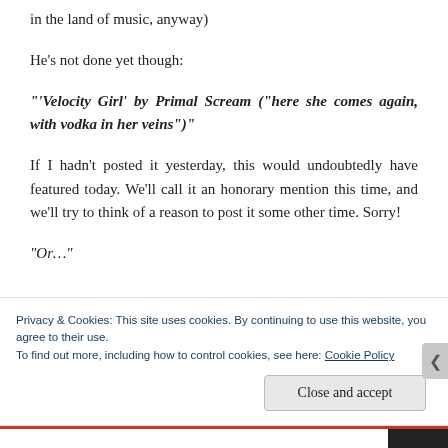in the land of music, anyway)
He’s not done yet though:
“‘Velocity Girl’ by Primal Scream (“here she comes again, with vodka in her veins”)”
If I hadn’t posted it yesterday, this would undoubtedly have featured today. We’ll call it an honorary mention this time, and we’ll try to think of a reason to post it some other time. Sorry!
“Or…”
Privacy & Cookies: This site uses cookies. By continuing to use this website, you agree to their use.
To find out more, including how to control cookies, see here: Cookie Policy